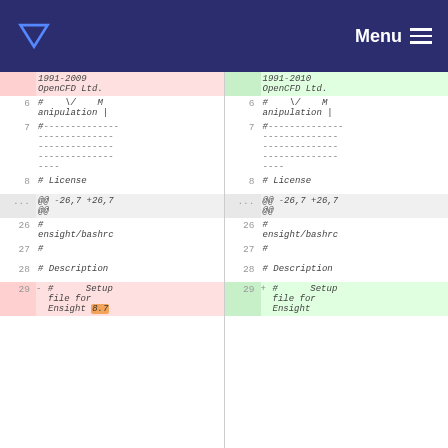Menu
| line-left | content-left | line-right | content-right |
| --- | --- | --- | --- |
|  | 1991-2009 OpenCFD Ltd. |  | 1991-2010 OpenCFD Ltd. |
| 6 | # \\/ M anipulation | | 6 | # \\/ M anipulation | |
| 7 | #------------------------------------------------- | 7 | #------------------------------------------------- |
| 8 | # License | 8 | # License |
| ... | @@ -26,7 +26,7 @@ | ... | @@ -26,7 +26,7 @@ |
| 26 | # ensight/bashrc | 26 | # ensight/bashrc |
| 27 | # | 27 | # |
| 28 | # Description | 28 | # Description |
| 29 | - # Setup file for Ensight 8.7 | 29 | + # Setup file for Ensight |